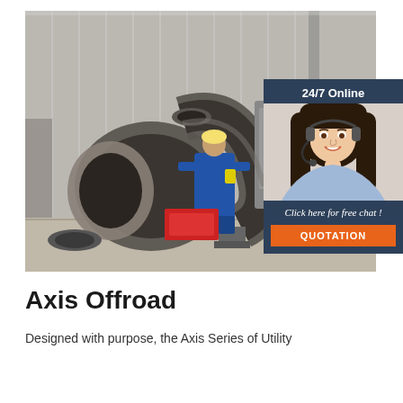[Figure (photo): Industrial warehouse scene showing a large curved steel pipe/elbow in the foreground, a worker in blue coveralls at a welding machine in the background, with metal shelving and equipment visible. Overlaid with a customer service chat widget showing '24/7 Online', a smiling female agent with headset, 'Click here for free chat!' text, and an orange QUOTATION button.]
Axis Offroad
Designed with purpose, the Axis Series of Utility